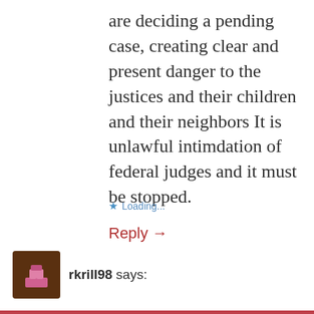are deciding a pending case, creating clear and present danger to the justices and their children and their neighbors It is unlawful intimdation of federal judges and it must be stopped.
★ Loading...
Reply →
rkrill98 says: